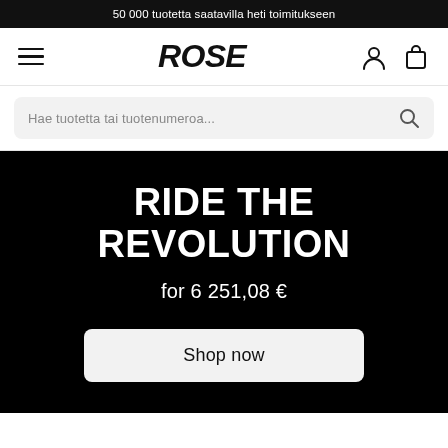50 000 tuotetta saatavilla heti toimitukseen
[Figure (logo): ROSE brand logo in bold italic text, navigation bar with hamburger menu, user icon, and shopping bag icon]
Hae tuotetta tai tuotenumeroa...
RIDE THE REVOLUTION
for 6 251,08 €
Shop now